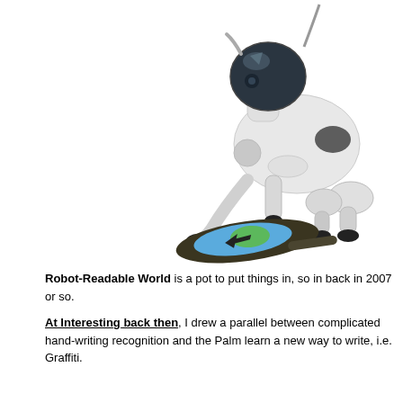[Figure (photo): Sony AIBO robot dog leaning forward sniffing or interacting with a round disc/frisbee on the ground. The disc has a blue circle with a green shape and dark arrow. The robot is white and black with a reflective dome head.]
Robot-Readable World is a pot to put things in, so in back in 2007 or so.
At Interesting back then, I drew a parallel between complicated hand-writing recognition and the Palm learn a new way to write, i.e. Graffiti.